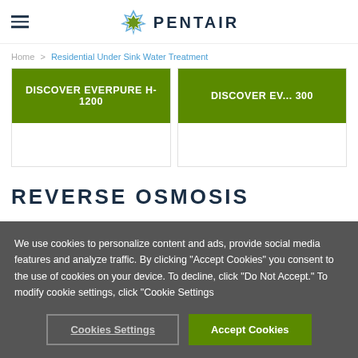PENTAIR
Home > Residential Under Sink Water Treatment
[Figure (screenshot): Two product cards with green banners: 'DISCOVER EVERPURE H-1200' and 'DISCOVER EV... 300']
REVERSE OSMOSIS
We use cookies to personalize content and ads, provide social media features and analyze traffic. By clicking "Accept Cookies" you consent to the use of cookies on your device. To decline, click "Do Not Accept." To modify cookie settings, click "Cookie Settings
Cookies Settings | Accept Cookies